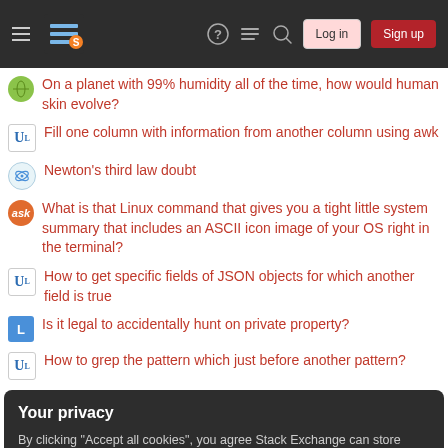Stack Exchange navigation header with Log in and Sign up buttons
On a planet with 99% humidity all of the time, how would human skin evolve?
Fill one column with information from another column using awk
Newton's third law doubt
What is that Linux command that gives you a tight little system summary that includes an ASCII icon image of your OS right in the terminal?
How to get specific fields of JSON objects for which another field is true
Is it legal to accidentally hunt on private property?
How to grep the pattern which just before another pattern?
Your privacy
By clicking "Accept all cookies", you agree Stack Exchange can store cookies on your device and disclose information in accordance with our Cookie Policy.
new fixture?